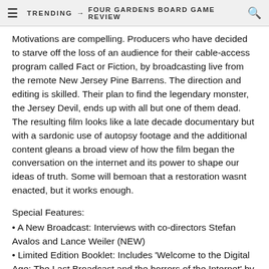≡  TRENDING → FOUR GARDENS BOARD GAME REVIEW  🔍
Motivations are compelling. Producers who have decided to starve off the loss of an audience for their cable-access program called Fact or Fiction, by broadcasting live from the remote New Jersey Pine Barrens. The direction and editing is skilled. Their plan to find the legendary monster, the Jersey Devil, ends up with all but one of them dead. The resulting film looks like a late decade documentary but with a sardonic use of autopsy footage and the additional content gleans a broad view of how the film began the conversation on the internet and its power to shape our ideas of truth. Some will bemoan that a restoration wasnt enacted, but it works enough.
Special Features:
• A New Broadcast: Interviews with co-directors Stefan Avalos and Lance Weiler (NEW)
• Limited Edition Booklet: Includes 'Welcome to the Digital Age: The Last Broadcast and the horrors of the Internet' by Phillip Escott and 'Fact or Fiction?' by Sarah Appleton (NEW)
• Commentary with co-directors Stefan Avalos and Lance Weiler